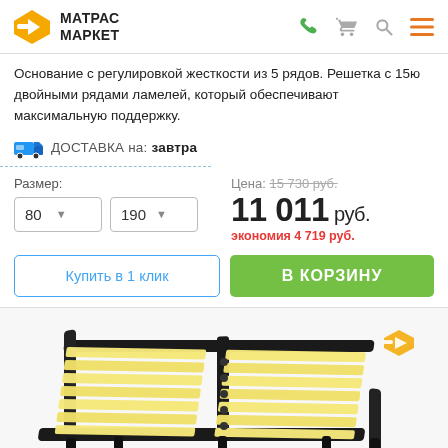[Figure (logo): Матрас Маркет logo with diamond/arrow icon and bold text]
Основание с регулировкой жесткости из 5 рядов. Решетка с 15ю двойными рядами ламелей, который обеспечивают максимальную поддержку.
ДОСТАВКА на: завтра
Размер:
80
190
Цена: 15 730 руб.
11 011 руб.
экономия 4 719 руб.
Купить в 1 клик
В КОРЗИНУ
[Figure (photo): Bed frame/slatted base (матрасное основание) with wooden slats and black metal frame, viewed from above-angle perspective]